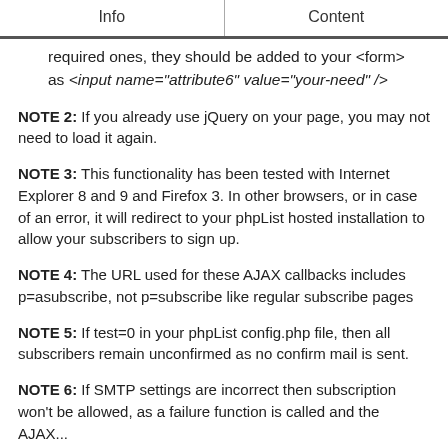Info | Content
required ones, they should be added to your <form> as <input name="attribute6" value="your-need" />
NOTE 2: If you already use jQuery on your page, you may not need to load it again.
NOTE 3: This functionality has been tested with Internet Explorer 8 and 9 and Firefox 3. In other browsers, or in case of an error, it will redirect to your phpList hosted installation to allow your subscribers to sign up.
NOTE 4: The URL used for these AJAX callbacks includes p=asubscribe, not p=subscribe like regular subscribe pages
NOTE 5: If test=0 in your phpList config.php file, then all subscribers remain unconfirmed as no confirm mail is sent.
NOTE 6: If SMTP settings are incorrect then subscription won't be allowed, as a failure function is called and the AJAX...